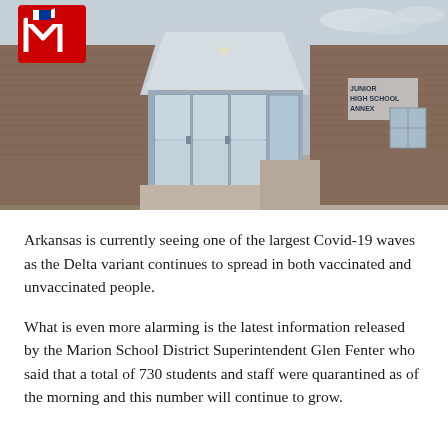[Figure (photo): Exterior photo of Marion Junior High School Annex building with brick facade, large glass entrance doors, and a red letter M logo with patriot flag on the left side of the building. Parking lot visible in foreground.]
Arkansas is currently seeing one of the largest Covid-19 waves as the Delta variant continues to spread in both vaccinated and unvaccinated people.
What is even more alarming is the latest information released by the Marion School District Superintendent Glen Fenter who said that a total of 730 students and staff were quarantined as of the morning and this number will continue to grow.